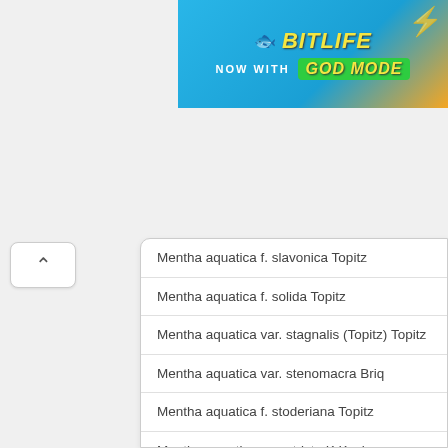[Figure (screenshot): BitLife advertisement banner with 'NOW WITH GOD MODE' text on blue/green background]
Mentha aquatica f. slavonica Topitz
Mentha aquatica f. solida Topitz
Mentha aquatica var. stagnalis (Topitz) Topitz
Mentha aquatica var. stenomacra Briq
Mentha aquatica f. stoderiana Topitz
Mentha aquatica var. stricta K.Koch
Mentha aquatica var. suavifolia Fr
Mentha aquatica f. subcordata Pérard
Mentha aquatica var. subdentata Jancic
Mentha aquatica f. subhirsuta Topitz